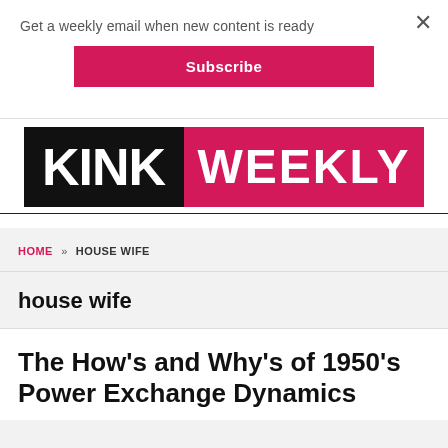Get a weekly email when new content is ready
Subscribe
[Figure (logo): Kink Weekly logo: 'KINK' in white on black block, 'WEEKLY' in white on pink/magenta block]
HOME » HOUSE WIFE
house wife
The How's and Why's of 1950's Power Exchange Dynamics